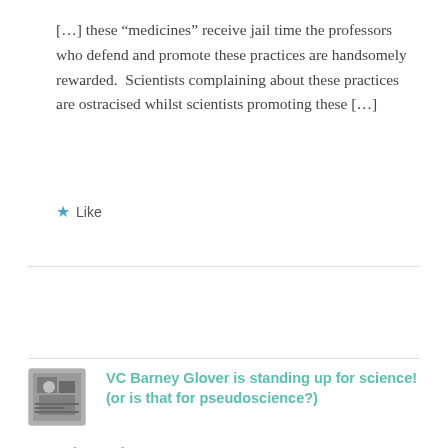[…] these “medicines” receive jail time the professors who defend and promote these practices are handsomely rewarded.  Scientists complaining about these practices are ostracised whilst scientists promoting these […]
★ Like
VC Barney Glover is standing up for science! (or is that for pseudoscience?) – Frank van der Kooy says:
SEPTEMBER 27, 2017 AT 6:57 AM
[…] Glover was notified in 2015, that he should